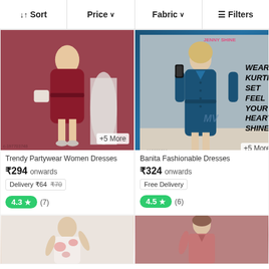↓↑ Sort  Price ∨  Fabric ∨  ⊟ Filters
[Figure (photo): Trendy partywear women dress in dark red/maroon color, model wearing knee-length bodycon dress with belt, white ankle boots. +5 More badge.]
[Figure (photo): Banita Fashionable blue kurti dress, model in blue satin shirt dress with buttons. Text overlay: WEAR KURTI SET FEEL YOUR HEART SHINE. +5 More badge.]
Trendy Partywear Women Dresses
₹294 onwards
Delivery ₹64 ₹70
4.3 ★ (7)
Banita Fashionable Dresses
₹324 onwards
Free Delivery
4.5 ★ (6)
[Figure (photo): Floral white dress product thumbnail, partially visible at bottom of page.]
[Figure (photo): Pink/rose colored shirt dress product thumbnail, model partially visible at bottom of page.]